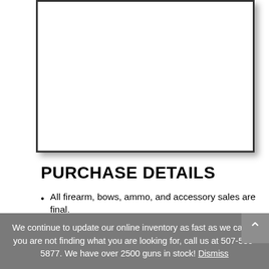[Figure (other): White rectangular image box with dark border and drop shadow]
PURCHASE DETAILS
All firearm, bows, ammo, and accessory sales are final. NO RETURNS OR CANCELLATIONS.
Please allow 3-5 business days for shipping.
Return to manufacturer for warranty service.
Actual buyer must pickup from FFL dealer who will conduct the background check.
We continue to update our online inventory as fast as we can! If you are not finding what you are looking for, call us at 507-530-5877. We have over 2500 guns in stock! Dismiss